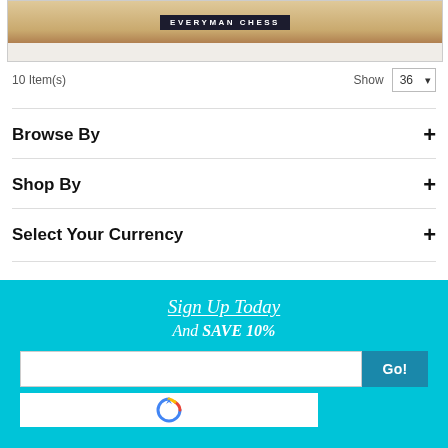[Figure (screenshot): Top portion of an Everyman Chess product image with logo banner]
10 Item(s)
Show 36
Browse By +
Shop By +
Select Your Currency +
Sign Up Today
And SAVE 10%
Go!